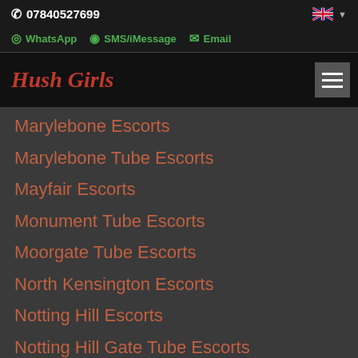07840527699
WhatsApp  SMS/iMessage  Email
Hush Girls
Marylebone Escorts
Marylebone Tube Escorts
Mayfair Escorts
Monument Tube Escorts
Moorgate Tube Escorts
North Kensington Escorts
Notting Hill Escorts
Notting Hill Gate Tube Escorts
Oxford Circus Tube Escorts
Paddington Escorts
Paddington Station Escorts